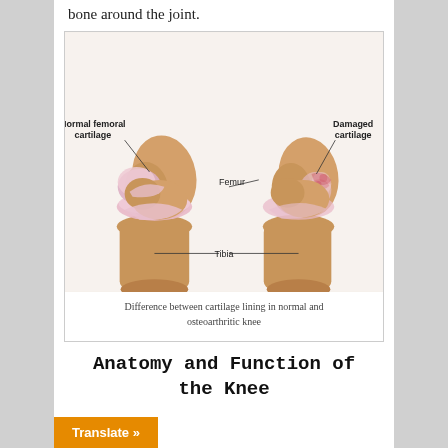bone around the joint.
[Figure (illustration): Medical illustration showing two knee joints side by side. Left side labeled 'Normal femoral cartilage' showing healthy pink cartilage on the femur. Right side labeled 'Damaged cartilage' showing deteriorated cartilage. Both sides labeled with 'Femur' and 'Tibia'.]
Difference between cartilage lining in normal and osteoarthritic knee
Anatomy and Function of the Knee